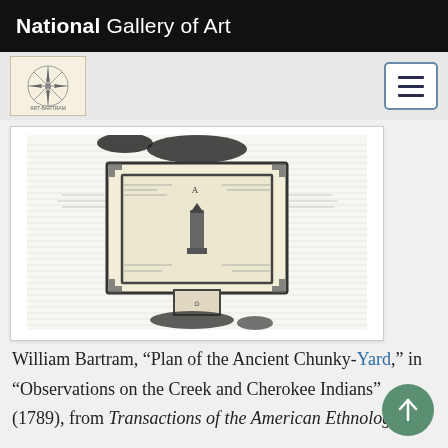National Gallery of Art
[Figure (illustration): Architectural floor plan illustration by William Bartram titled 'Plan of the Ancient Chunky-Yard', a black and white engraving showing a rectangular enclosed yard with interior features, from 'Observations on the Creek and Cherokee Indians' (1789)]
William Bartram, “Plan of the Ancient Chunky-Yard,” in “Observations on the Creek and Cherokee Indians” (1789), from Transactions of the American Ethnological